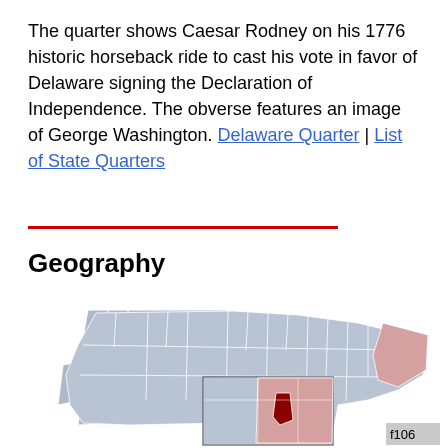The quarter shows Caesar Rodney on his 1776 historic horseback ride to cast his vote in favor of Delaware signing the Declaration of Independence. The obverse features an image of George Washington. Delaware Quarter | List of State Quarters
Geography
[Figure (map): Map of the United States with Delaware highlighted in dark red. An inset box shows a zoomed view of the Mid-Atlantic region with Delaware clearly marked in dark red. The surrounding northeastern states are shaded in light red/pink. A label 'f106' appears in the lower right of the inset.]